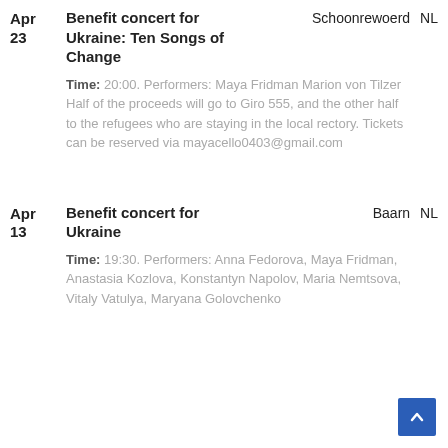Apr 23
Benefit concert for Ukraine: Ten Songs of Change
Schoonrewoerd   NL
Time: 20:00. Performers: Maya Fridman Marion von Tilzer Half of the proceeds will go to Giro 555, and the other half to the refugees who are staying in the local rectory. Tickets can be reserved via mayacello0403@gmail.com
Apr 13
Benefit concert for Ukraine
Baarn   NL
Time: 19:30. Performers: Anna Fedorova, Maya Fridman, Anastasia Kozlova, Konstantyn Napolov, Maria Nemtsova, Vitaly Vatulya, Maryana Golovchenko